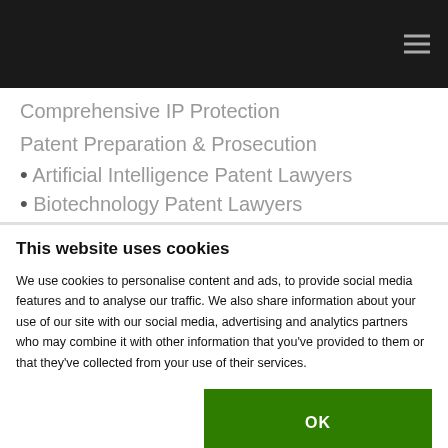[Figure (screenshot): Dark navigation bar with hamburger menu icon on the right]
Comprehensive IP Protection
Patent Preparation & Prosecution
• Artificial Intelligence Patent Lawyers
• Biotechnology Patent Lawyers
This website uses cookies
We use cookies to personalise content and ads, to provide social media features and to analyse our traffic. We also share information about your use of our site with our social media, advertising and analytics partners who may combine it with other information that you've provided to them or that they've collected from your use of their services.
OK
Necessary  Preferences  Statistics  Marketing  Show details